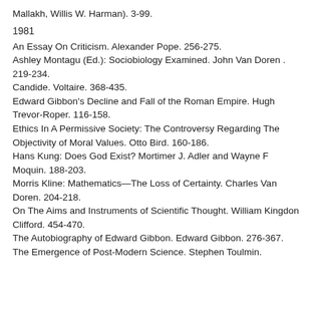Mallakh, Willis W. Harman). 3-99.
1981
An Essay On Criticism. Alexander Pope. 256-275.
Ashley Montagu (Ed.): Sociobiology Examined. John Van Doren . 219-234.
Candide. Voltaire. 368-435.
Edward Gibbon's Decline and Fall of the Roman Empire. Hugh Trevor-Roper. 116-158.
Ethics In A Permissive Society: The Controversy Regarding The Objectivity of Moral Values. Otto Bird. 160-186.
Hans Kung: Does God Exist? Mortimer J. Adler and Wayne F Moquin. 188-203.
Morris Kline: Mathematics—The Loss of Certainty. Charles Van Doren. 204-218.
On The Aims and Instruments of Scientific Thought. William Kingdon Clifford. 454-470.
The Autobiography of Edward Gibbon. Edward Gibbon. 276-367.
The Emergence of Post-Modern Science. Stephen Toulmin.